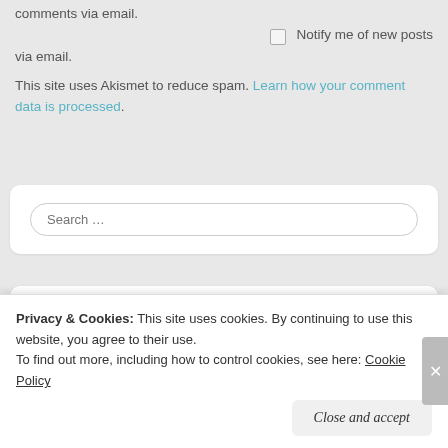comments via email.
Notify me of new posts via email.
This site uses Akismet to reduce spam. Learn how your comment data is processed.
Search ...
Recent Posts
Why did we decide to grow up anyway?
Dear body, I promise I am trying not to hate you so much.
Privacy & Cookies: This site uses cookies. By continuing to use this website, you agree to their use. To find out more, including how to control cookies, see here: Cookie Policy
Close and accept